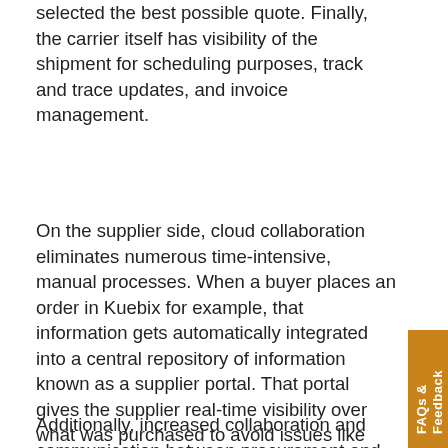selected the best possible quote. Finally, the carrier itself has visibility of the shipment for scheduling purposes, track and trace updates, and invoice management.
On the supplier side, cloud collaboration eliminates numerous time-intensive, manual processes. When a buyer places an order in Kuebix for example, that information gets automatically integrated into a central repository of information known as a supplier portal. That portal gives the supplier real-time visibility over what was purchased to avoid issues like missed shipment promise dates and carriers coming to pick up freight that’s not yet ready to ship. This, in turn, results in higher levels of customer service and happier buyers.
Additionally, increased collaboration and communication between procurement and suppliers